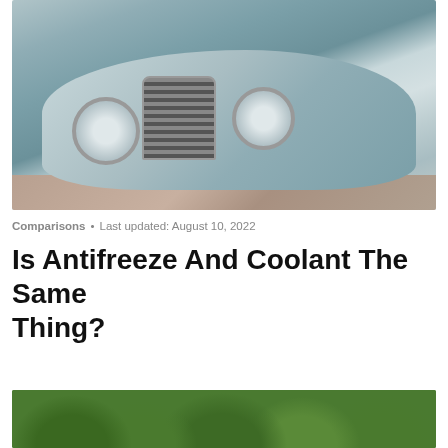[Figure (photo): Front view of a vintage light blue/silver classic car (resembling a 1940s-1950s European automobile) photographed from slightly above, showing the hood, chrome grille, round headlights, and front bumper on a cobblestone surface.]
Comparisons • Last updated: August 10, 2022
Is Antifreeze And Coolant The Same Thing?
[Figure (photo): Partial view of green leafy trees, visible at the bottom of the page (cropped).]